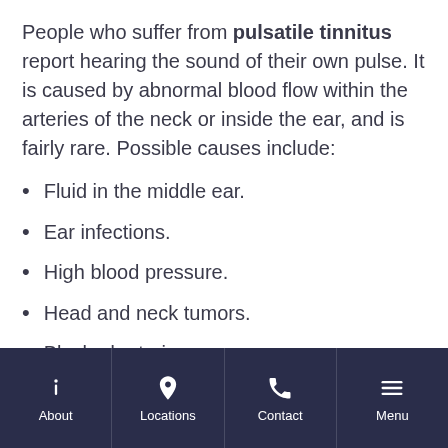People who suffer from pulsatile tinnitus report hearing the sound of their own pulse. It is caused by abnormal blood flow within the arteries of the neck or inside the ear, and is fairly rare. Possible causes include:
Fluid in the middle ear.
Ear infections.
High blood pressure.
Head and neck tumors.
Blocked arteries.
About | Locations | Contact | Menu